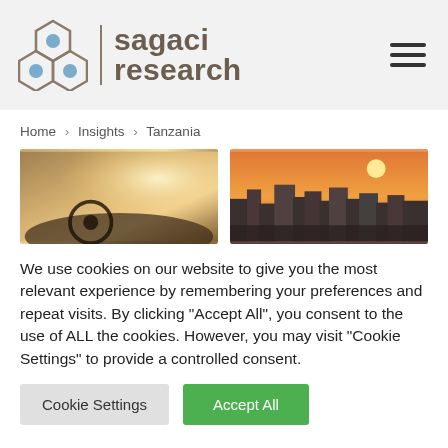[Figure (logo): Sagaci Research logo with hexagon icon and wordmark]
Home > Insights > Tanzania
[Figure (photo): Two photos side by side: left shows a person driving a car (interior view with hands on steering wheel and sunlight), right shows a city skyline at sunset with orange/amber sky]
We use cookies on our website to give you the most relevant experience by remembering your preferences and repeat visits. By clicking “Accept All”, you consent to the use of ALL the cookies. However, you may visit "Cookie Settings" to provide a controlled consent.
Cookie Settings
Accept All